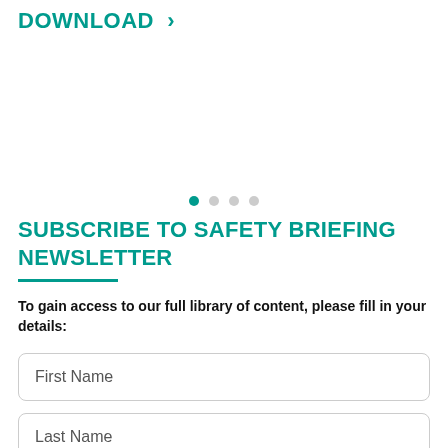DOWNLOAD >
[Figure (other): Carousel navigation dots: one active teal dot followed by three inactive grey dots]
SUBSCRIBE TO SAFETY BRIEFING NEWSLETTER
To gain access to our full library of content, please fill in your details:
First Name
Last Name